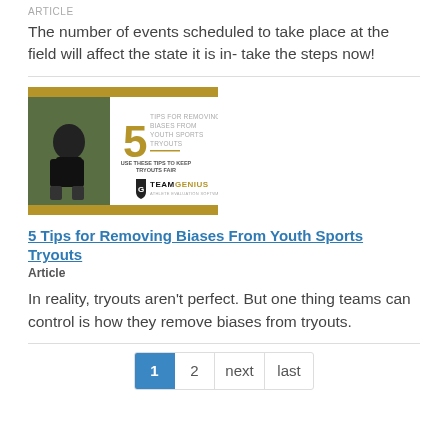Article
The number of events scheduled to take place at the field will affect the state it is in- take the steps now!
[Figure (infographic): Infographic with gold top/bottom bars, youth football player photo on left, large gold '5' with text 'Tips for Removing Biases From Youth Sports Tryouts', 'Use these tips to keep tryouts fair', and TeamGenius logo.]
5 Tips for Removing Biases From Youth Sports Tryouts
Article
In reality, tryouts aren't perfect. But one thing teams can control is how they remove biases from tryouts.